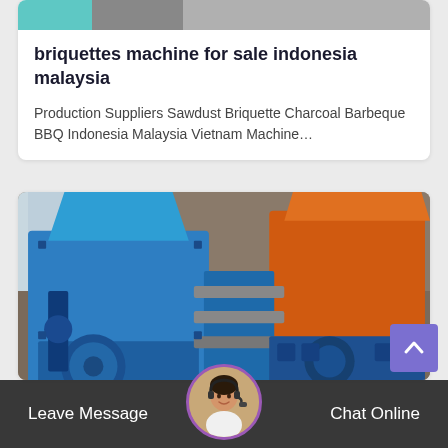[Figure (photo): Partial image of a person/worker at top of card, cropped]
briquettes machine for sale indonesia malaysia
Production Suppliers Sawdust Briquette Charcoal Barbeque BBQ Indonesia Malaysia Vietnam Machine…
[Figure (photo): Photo of a blue and orange industrial briquette pressing machine in a workshop setting]
Leave Message  Chat Online